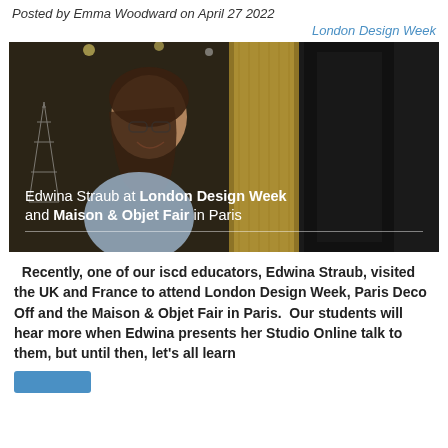Posted by Emma Woodward on April 27 2022
London Design Week
[Figure (photo): Photo of Edwina Straub smiling at London Design Week, surrounded by textured wall panels and decorative installations including an Eiffel Tower model. Overlay text reads: Edwina Straub at London Design Week and Maison & Objet Fair in Paris]
Recently, one of our iscd educators, Edwina Straub, visited the UK and France to attend London Design Week, Paris Deco Off and the Maison & Objet Fair in Paris.  Our students will hear more when Edwina presents her Studio Online talk to them, but until then, let’s all learn